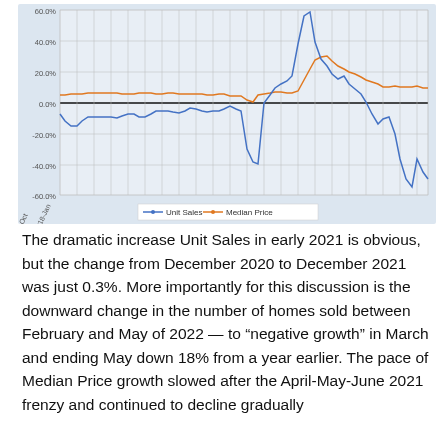[Figure (line-chart): Line chart showing Year-over-Year percent change in Unit Sales (blue) and Median Price (orange) from 2017-Jan to 2022-Apr. Unit Sales shows dramatic spike in early 2021 to ~60%, then drops to -40% in mid-2020 COVID period, and falls to about -18% by May 2022. Median Price stays relatively flat around 5-10% until 2021 when it rises to ~40%, then declines gradually.]
The dramatic increase Unit Sales in early 2021 is obvious, but the change from December 2020 to December 2021 was just 0.3%. More importantly for this discussion is the downward change in the number of homes sold between February and May of 2022 — to "negative growth" in March and ending May down 18% from a year earlier. The pace of Median Price growth slowed after the April-May-June 2021 frenzy and continued to decline gradually